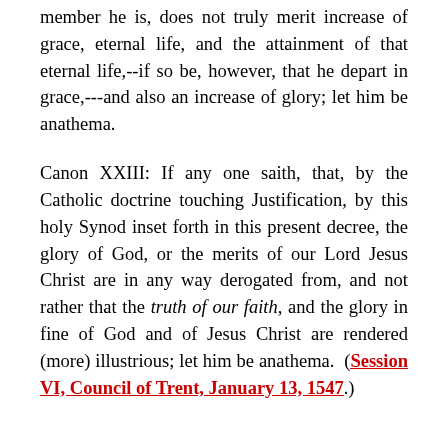member he is, does not truly merit increase of grace, eternal life, and the attainment of that eternal life,--if so be, however, that he depart in grace,---and also an increase of glory; let him be anathema.
Canon XXIII: If any one saith, that, by the Catholic doctrine touching Justification, by this holy Synod inset forth in this present decree, the glory of God, or the merits of our Lord Jesus Christ are in any way derogated from, and not rather that the truth of our faith, and the glory in fine of God and of Jesus Christ are rendered (more) illustrious; let him be anathema. (Session VI, Council of Trent, January 13, 1547.)